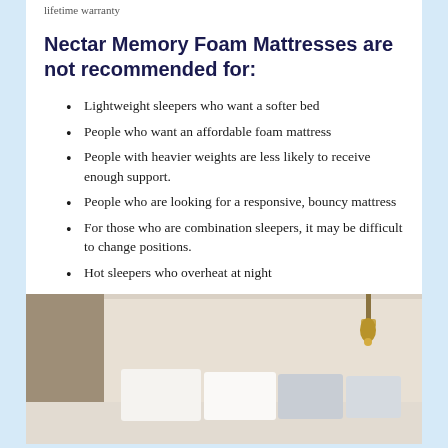lifetime warranty
Nectar Memory Foam Mattresses are not recommended for:
Lightweight sleepers who want a softer bed
People who want an affordable foam mattress
People with heavier weights are less likely to receive enough support.
People who are looking for a responsive, bouncy mattress
For those who are combination sleepers, it may be difficult to change positions.
Hot sleepers who overheat at night
[Figure (photo): Bedroom scene showing a bed with white and grey pillows against a beige/cream headboard, with a gold pendant light visible in the upper right corner.]